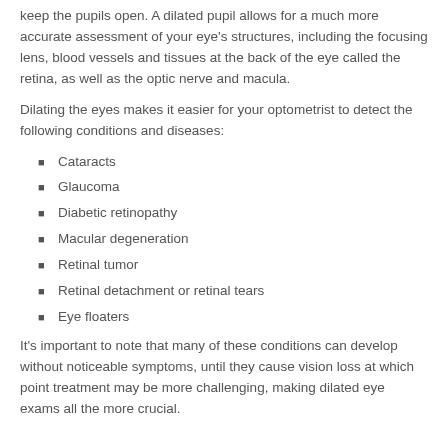keep the pupils open. A dilated pupil allows for a much more accurate assessment of your eye's structures, including the focusing lens, blood vessels and tissues at the back of the eye called the retina, as well as the optic nerve and macula.
Dilating the eyes makes it easier for your optometrist to detect the following conditions and diseases:
Cataracts
Glaucoma
Diabetic retinopathy
Macular degeneration
Retinal tumor
Retinal detachment or retinal tears
Eye floaters
It's important to note that many of these conditions can develop without noticeable symptoms, until they cause vision loss at which point treatment may be more challenging, making dilated eye exams all the more crucial.